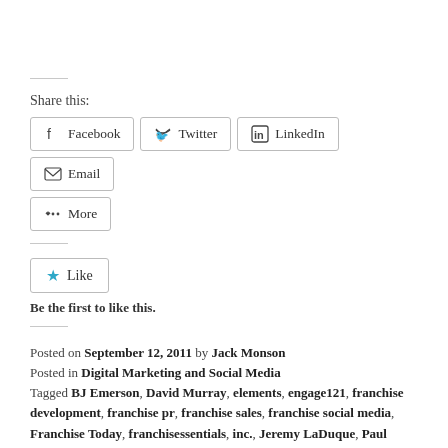Share this:
Facebook  Twitter  LinkedIn  Email  More
Like  Be the first to like this.
Posted on September 12, 2011 by Jack Monson
Posted in Digital Marketing and Social Media
Tagged BJ Emerson, David Murray, elements, engage121, franchise development, franchise pr, franchise sales, franchise social media, Franchise Today, franchisessentials, inc., Jeremy LaDuque, Paul Segreto, Social Media Conferences, tasti, Tasti D-Lite.